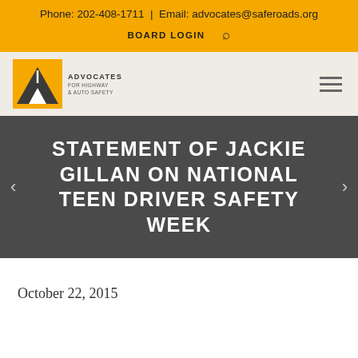Phone: 202-408-1711 | Email: advocates@saferoads.org
BOARD LOGIN
[Figure (logo): Advocates for Highway and Auto Safety logo with stylized A on road graphic]
STATEMENT OF JACKIE GILLAN ON NATIONAL TEEN DRIVER SAFETY WEEK
October 22, 2015